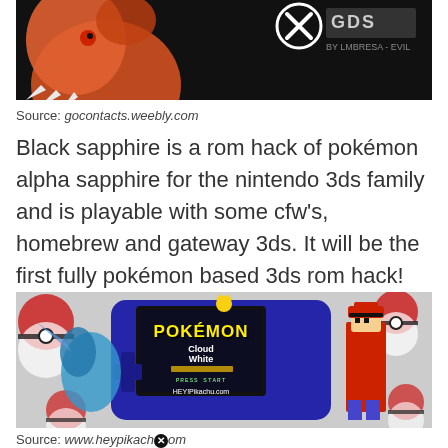[Figure (photo): Partial image of Charizard or similar Pokemon character on dark background with logo text, partially cut off at top]
Source: gocontacts.weebly.com
Black sapphire is a rom hack of pokémon alpha sapphire for the nintendo 3ds family and is playable with some cfw's, homebrew and gateway 3ds. It will be the first fully pokémon based 3ds rom hack!
[Figure (photo): Image of a blue Game Boy Advance handheld showing Pokemon Cloud White game screen with Pikachu logo, with Ash Ketchum pixel art character on the right and Kyurem on the left, on a Pokeball patterned background]
Source: www.heypikach[X]om